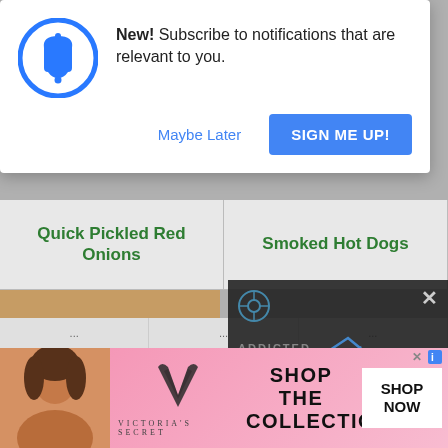[Figure (screenshot): Mobile browser notification subscription popup with blue bell icon, 'New! Subscribe to notifications that are relevant to you.' text, 'Maybe Later' and 'SIGN ME UP!' buttons]
New! Subscribe to notifications that are relevant to you.
Maybe Later
SIGN ME UP!
Quick Pickled Red Onions
Smoked Hot Dogs
[Figure (photo): Photo of stacked muffins/cupcakes without frosting]
[Figure (screenshot): Dark video overlay with blue geometric logo, text 'ADDICTED AMISH STYLE APPLESAUCE CAKE', play button, mute button, and X close button]
[Figure (screenshot): Victoria's Secret advertisement banner with model photo, VS logo, 'SHOP THE COLLECTION' text, and 'SHOP NOW' button]